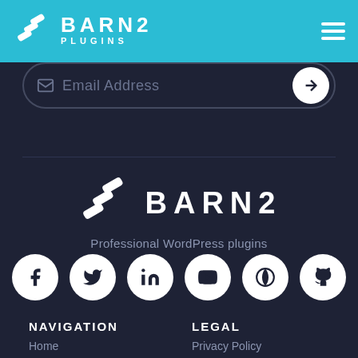BARN2 PLUGINS
[Figure (screenshot): Email address input field partially visible]
[Figure (logo): Barn2 Plugins footer logo with tagline: Professional WordPress plugins]
Professional WordPress plugins
[Figure (infographic): Social media icons row: Facebook, Twitter, LinkedIn, YouTube, WordPress, GitHub]
NAVIGATION
LEGAL
Home
Privacy Policy